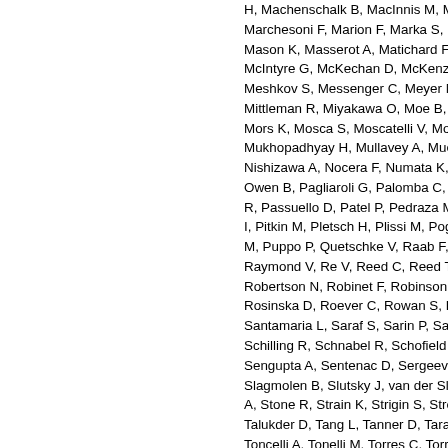H, Machenschalk B, MacInnis M, Mackow... Marchesoni F, Marion F, Marka S, Marka Z... Mason K, Masserot A, Matichard F, Maton... McIntyre G, McKechan D, McKenzie K, M... Meshkov S, Messenger C, Meyer M, Mich... Mittleman R, Miyakawa O, Moe B, Mohan... Mors K, Mosca S, Moscatelli V, Mossavi K... Mukhopadhyay H, Mullavey A, Mueller-Eb... Nishizawa A, Nocera F, Numata K, Ochsn... Owen B, Pagliaroli G, Palomba C, Pan Y,... R, Passuello D, Patel P, Pedraza M, Penn... I, Pitkin M, Pletsch H, Plissi M, Poggiani R... M, Puppo P, Quetschke V, Raab F, Rabas... Raymond V, Re V, Reed C, Reed T, Regin... Robertson N, Robinet F, Robinson C, Rob... Rosinska D, Roever C, Rowan S, Ruedige... Santamaria L, Saraf S, Sarin P, Sassolas... Schilling R, Schnabel R, Schofield R, Sch... Sengupta A, Sentenac D, Sergeev A, Sha... Slagmolen B, Slutsky J, van der Sluys M,... A, Stone R, Strain K, Strigin S, Stroeer A,... Talukder D, Tang L, Tanner D, Tarabrin S,... Toncelli A, Tonelli M, Torres C, Torrie C, To... Vahlbruch H, Vajente G, Vallisneri M, van... van Veggel A, Veitch J, Veitch P, Veltkamp... Waldman S, Wallace L, Ward R, Was M, W... Whitcomb S, Whiting B, Wilkinson C, Wille... Wiseman A, Woan G, Wooley R, Worden... L, Zhao C, Zetou N, Zucker M, Zweizig J...